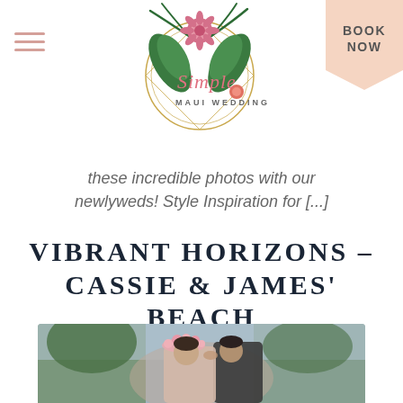[Figure (logo): Simple Maui Wedding logo: a circular gold geometric frame with tropical flowers (protea, palm leaves) and the text 'Simple' in pink script and 'MAUI WEDDING' in small caps below]
[Figure (other): BOOK NOW button with peach/pink pentagon-shaped background]
these incredible photos with our newlyweds! Style Inspiration for [...]
VIBRANT HORIZONS – CASSIE & JAMES' BEACH WEDDING IN HAWAII
[Figure (photo): A couple kissing on a beach; the bride wears a flower crown with pink flowers, the groom in a suit; tropical palm trees in background]